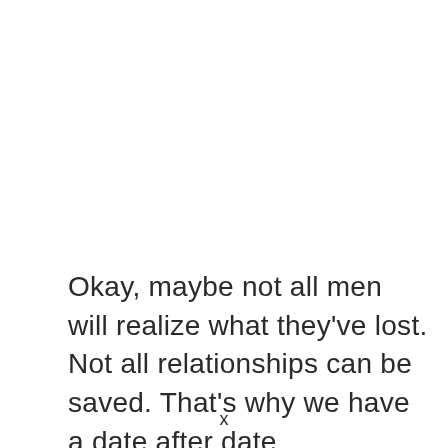Okay, maybe not all men will realize what they've lost. Not all relationships can be saved. That's why we have a date after date
x